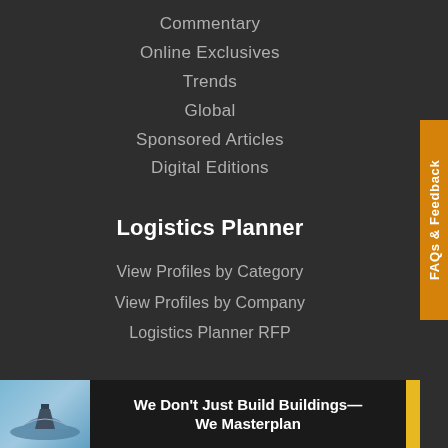Commentary
Online Exclusives
Trends
Global
Sponsored Articles
Digital Editions
Logistics Planner
View Profiles by Category
View Profiles by Company
Logistics Planner RFP
Send RFP/RFI
See all RFPs
[Figure (infographic): Advertisement banner: We Don't Just Build Buildings— We Masterplan, with image of a building/ship and yellow stripe]
FAQs & Feedback